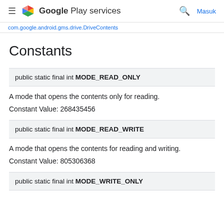Google Play services — Masuk
com.google.android.gms.drive.DriveContents
Constants
public static final int MODE_READ_ONLY
A mode that opens the contents only for reading.
Constant Value: 268435456
public static final int MODE_READ_WRITE
A mode that opens the contents for reading and writing.
Constant Value: 805306368
public static final int MODE_WRITE_ONLY